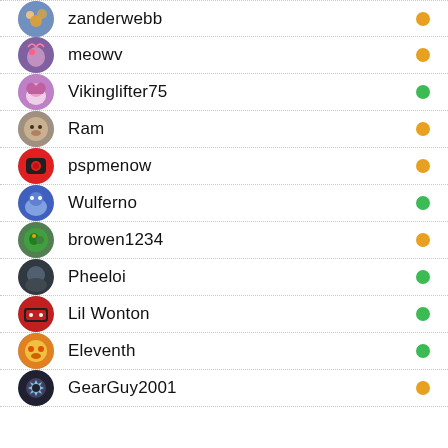zanderwebb
meowv
Vikinglifter75
Ram
pspmenow
Wulferno
browen1234
Pheeloi
Lil Wonton
Eleventh
GearGuy2001